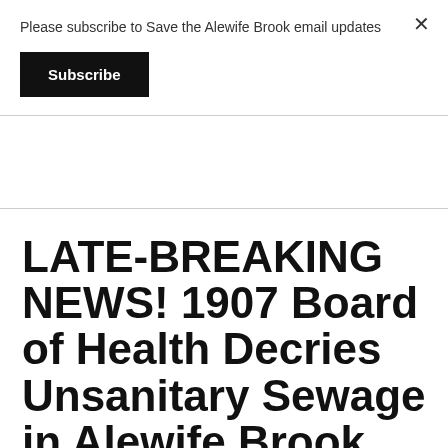Please subscribe to Save the Alewife Brook email updates
Subscribe
LATE-BREAKING NEWS! 1907 Board of Health Decries Unsanitary Sewage in Alewife Brook
In the historical Annual Report of the State Board of Health, published in 1907, it was determined